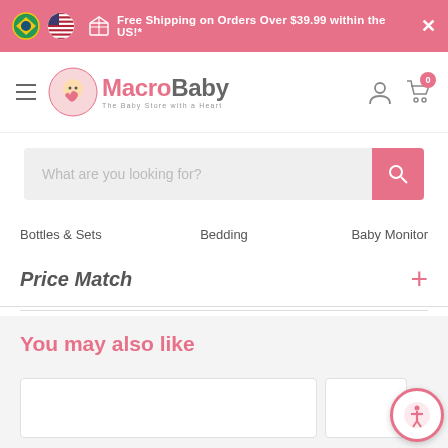Free Shipping on Orders Over $39.99 within the US!*
[Figure (logo): MacroBaby - The Baby Store with a Heart logo]
What are you looking for?
Bottles & Sets    Bedding    Baby Monitor
Price Match
You may also like